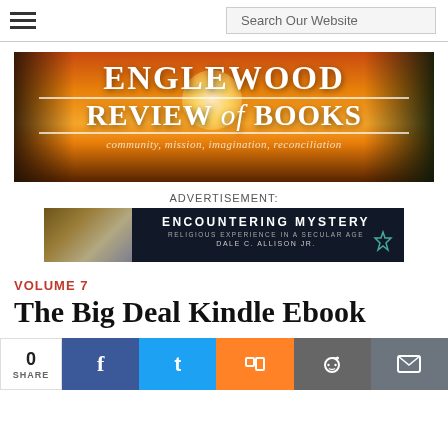Search Our Website
[Figure (illustration): Englewood Review of Books banner with sunset background, utility poles, and trees. Text reads: ENGLEWOOD REVIEW of BOOKS, community, mission, imagination, reconciliation]
ADVERTISEMENT:
[Figure (illustration): Advertisement banner for book 'Encountering Mystery: Religious Experience in a Secular Age' by Dale C. Allison Jr.]
VOLUME 7
The Big Deal Kindle Ebook